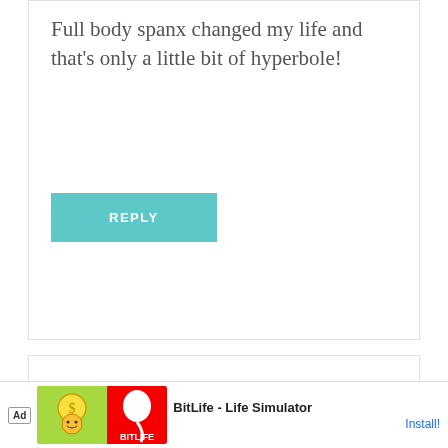Full body spanx changed my life and that's only a little bit of hyperbole!
REPLY
YVONNE @ STONEGABLE
Sep 21, 2014 at 4:10 pm
Best tip this year... full body spanx! And I'm also interested in a new way to drink coffee!
REPLY
[Figure (screenshot): BitLife - Life Simulator advertisement banner at the bottom of the page with colorful game icon and Install! button]